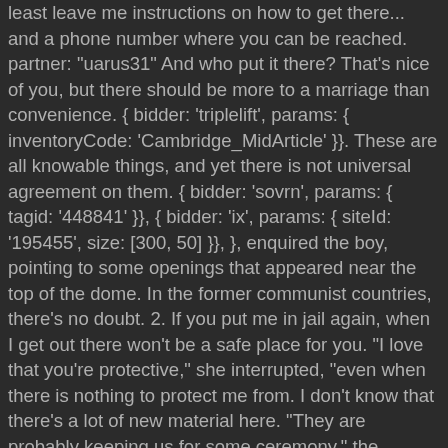least leave me instructions on how to get there... and a phone number where you can be reached. partner: "uarus31" And who put it there? That's nice of you, but there should be more to a marriage than convenience. { bidder: 'triplelift', params: { inventoryCode: 'Cambridge_MidArticle' }}. These are all knowable things, and yet there is not universal agreement on them. { bidder: 'sovrn', params: { tagid: '448841' }}, { bidder: 'ix', params: { siteId: '195455', size: [300, 50] }}, }, enquired the boy, pointing to some openings that appeared near the top of the dome. In the former communist countries, there's no doubt. 2. If you put me in jail again, when I get out there won't be a safe place for you. "I love that you're protective," she interrupted, "even when there is nothing to protect me from. I don't know that there's a lot of new material here. "They are probably keeping us for some ceremony," the Wizard answered, reflectively; "but there is no doubt they intend to kill us as dead as possible in a short time.". I always thought I knew what was going on out there. { bidder: 'triplelift', params: { inventoryCode: 'Cambridge_SR' }}. Many lomplete